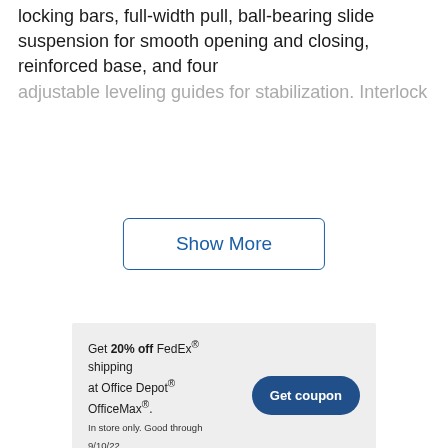locking bars, full-width pull, ball-bearing slide suspension for smooth opening and closing, reinforced base, and four adjustable leveling guides for stabilization. Interlock
Show More
[Figure (other): Advertisement banner: Get 20% off FedEx shipping at Office Depot OfficeMax. In store only. Good through 9/10/22. Get coupon button.]